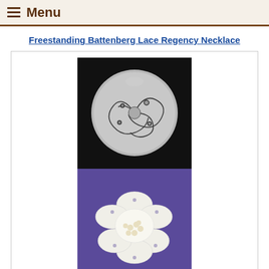Menu
Freestanding Battenberg Lace Regency Necklace
[Figure (photo): Three stacked product photos: top shows a round silver ornament with swirling lace pattern on black background; middle shows white Battenberg lace flower with pearl beads on purple background; bottom shows a white circular lace snowflake doily on dark background.]
Freestanding Battenberg Lace Snowflake Christmas Tree Ornament Set